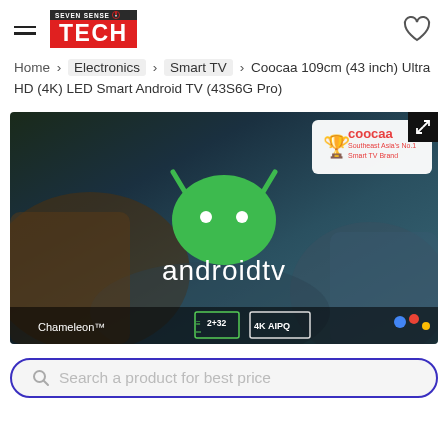Seven Sense Tech logo with hamburger menu and heart/wishlist icon
Home > Electronics > Smart TV > Coocaa 109cm (43 inch) Ultra HD (4K) LED Smart Android TV (43S6G Pro)
[Figure (photo): Product image of Coocaa Android TV showing Android TV logo with green Android mascot robot head, text 'androidtv', Chameleon branding, 2+32 memory spec, 4K AIPQ chip label, Google Assistant dots, and Coocaa Southeast Asia's No.1 Smart TV Brand badge in top right corner]
Search a product for best price